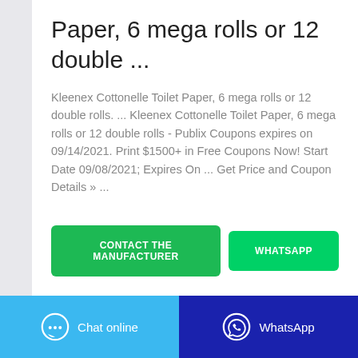Paper, 6 mega rolls or 12 double ...
Kleenex Cottonelle Toilet Paper, 6 mega rolls or 12 double rolls. ... Kleenex Cottonelle Toilet Paper, 6 mega rolls or 12 double rolls - Publix Coupons expires on 09/14/2021. Print $1500+ in Free Coupons Now! Start Date 09/08/2021; Expires On ... Get Price and Coupon Details » ...
[Figure (other): Green button labeled CONTACT THE MANUFACTURER]
[Figure (other): Green button labeled WHATSAPP]
[Figure (other): Blue bottom bar button with chat bubble icon labeled Chat online]
[Figure (other): Dark blue bottom bar button with WhatsApp phone icon labeled WhatsApp]